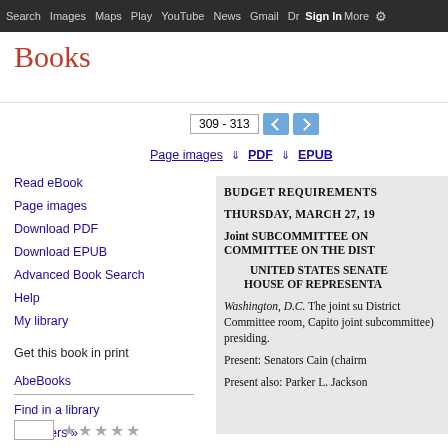Search  Images  Maps  Play  YouTube  News  Gmail  Drive  More  Sign in
Books
309 - 313
Page images
PDF
EPUB
Read eBook
Page images
Download PDF
Download EPUB
Advanced Book Search
Help
My library
Get this book in print
AbeBooks
Find in a library
All sellers »
BUDGET REQUIREMENTS

THURSDAY, MARCH 27, 19

Joint SUBCOMMITTEE ON
COMMITTEE ON THE DIST

UNITED STATES SENATE
HOUSE OF REPRESENTA

Washington, D.C. The joint su District Committee room, Capito joint subcommittee) presiding.

Present: Senators Cain (chairm

Present also: Parker L. Jackson